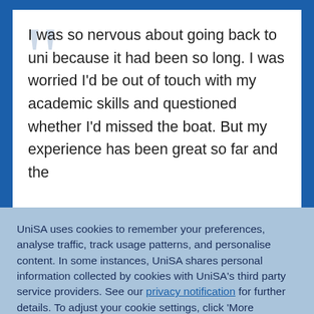I was so nervous about going back to uni because it had been so long. I was worried I'd be out of touch with my academic skills and questioned whether I'd missed the boat. But my experience has been great so far and the
UniSA uses cookies to remember your preferences, analyse traffic, track usage patterns, and personalise content. In some instances, UniSA shares personal information collected by cookies with UniSA's third party service providers. See our privacy notification for further details. To adjust your cookie settings, click 'More information'. By clicking 'Accept and continue', you consent to our use of cookies.
Accept and continue
More information